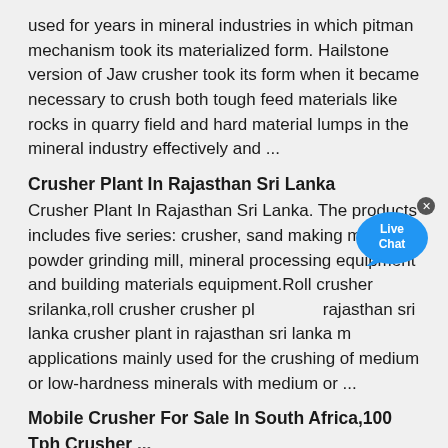used for years in mineral industries in which pitman mechanism took its materialized form. Hailstone version of Jaw crusher took its form when it became necessary to crush both tough feed materials like rocks in quarry field and hard material lumps in the mineral industry effectively and ...
Crusher Plant In Rajasthan Sri Lanka
Crusher Plant In Rajasthan Sri Lanka. The products includes five series: crusher, sand making machine, powder grinding mill, mineral processing equipment and building materials equipment.Roll crusher srilanka,roll crusher crusher pl rajasthan sri lanka crusher plant in rajasthan sri lanka m applications mainly used for the crushing of medium or low-hardness minerals with medium or ...
Mobile Crusher For Sale In South Africa,100 Tph Crusher ...
Sucessful Solutions. As one of leaders of global crushing and grinding industry, SCM always seeks innovation & excellence.Grasping strong production capability, advanced research strength and excellent service, SCM create the value and bring values to all of customers.
Canica 2350 VSI
2021-8-8 · The 2350 VSI features a dual motor drive with a capacity of up to 600 tph ( 545 mtph) Available in HD (Heavy Duty), and HDS (Heavy Duty Sand) configurations. Contact Us Sign Up Find a Dealer. Specifications.